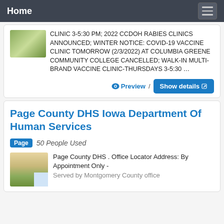Home
CLINIC 3-5:30 PM; 2022 CCDOH RABIES CLINICS ANNOUNCED; WINTER NOTICE: COVID-19 VACCINE CLINIC TOMORROW (2/3/2022) AT COLUMBIA GREENE COMMUNITY COLLEGE CANCELLED; WALK-IN MULTI-BRAND VACCINE CLINIC-THURSDAYS 3-5:30 …
Preview / Show details
Page County DHS Iowa Department Of Human Services
Page  50 People Used
Page County DHS . Office Locator Address: By Appointment Only - Served by Montgomery County office